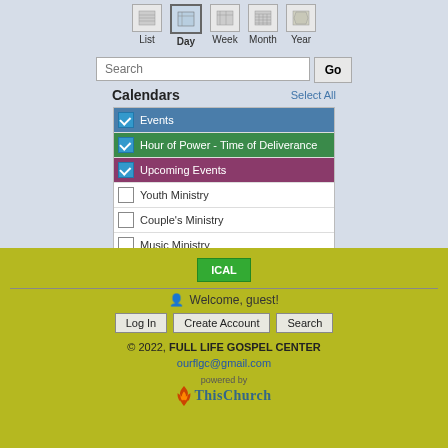[Figure (screenshot): Navigation icons for calendar views: List, Day (active/highlighted), Week, Month, Year]
Search [input field] Go
Calendars  Select All
Events (checked, blue)
Hour of Power - Time of Deliverance (checked, green)
Upcoming Events (checked, purple)
Youth Ministry (unchecked)
Couple's Ministry (unchecked)
Music Ministry (unchecked)
Children's Ministry (unchecked)
ICAL
Welcome, guest!
Log In  Create Account  Search
© 2022, FULL LIFE GOSPEL CENTER
ourflgc@gmail.com
powered by ThisChurch